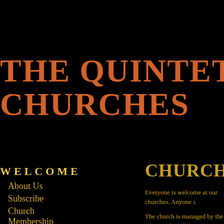THE QUINTET CHURCHES
WELCOME
About Us
Subscribe
Church Membership
CHURCH MEMBERSHIP
Everyone is welcome at our churches. Anyone c...
The church is managed by the Rector, Elected W... participate in the election of church officers, and...